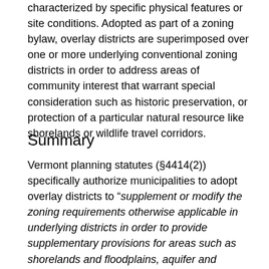characterized by specific physical features or site conditions. Adopted as part of a zoning bylaw, overlay districts are superimposed over one or more underlying conventional zoning districts in order to address areas of community interest that warrant special consideration such as historic preservation, or protection of a particular natural resource like shorelands or wildlife travel corridors.
Summary
Vermont planning statutes (§4414(2)) specifically authorize municipalities to adopt overlay districts to “supplement or modify the zoning requirements otherwise applicable in underlying districts in order to provide supplementary provisions for areas such as shorelands and floodplains, aquifer and source protection areas, ridgelines and scenic features, highway intersection, bypass, and interchange areas, or other features